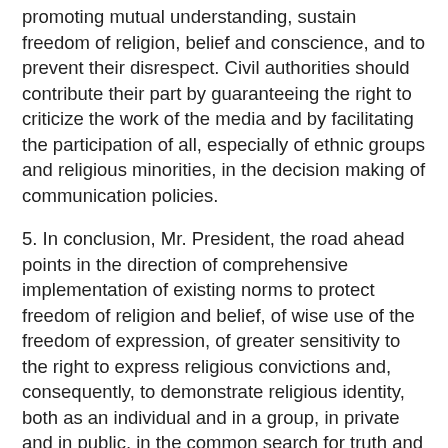promoting mutual understanding, sustain freedom of religion, belief and conscience, and to prevent their disrespect. Civil authorities should contribute their part by guaranteeing the right to criticize the work of the media and by facilitating the participation of all, especially of ethnic groups and religious minorities, in the decision making of communication policies.
5. In conclusion, Mr. President, the road ahead points in the direction of comprehensive implementation of existing norms to protect freedom of religion and belief, of wise use of the freedom of expression, of greater sensitivity to the right to express religious convictions and, consequently, to demonstrate religious identity, both as an individual and in a group, in private and in public, in the common search for truth and peaceful coexistence. In this way, people come first since human rights belong to them and their communities rather than to abstract ideas, institutions or physical territories. In the same way, equality of treatment is preserved by protecting religious minorities from discriminatory legislation and practices. In the new digital arena, much can be achieved by encountering and knowing the traditions and values of each other, by creating a new